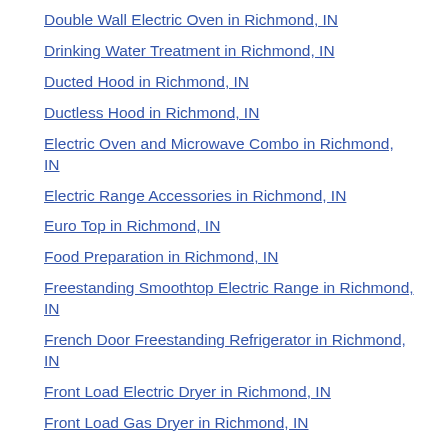Double Wall Electric Oven in Richmond, IN
Drinking Water Treatment in Richmond, IN
Ducted Hood in Richmond, IN
Ductless Hood in Richmond, IN
Electric Oven and Microwave Combo in Richmond, IN
Electric Range Accessories in Richmond, IN
Euro Top in Richmond, IN
Food Preparation in Richmond, IN
Freestanding Smoothtop Electric Range in Richmond, IN
French Door Freestanding Refrigerator in Richmond, IN
Front Load Electric Dryer in Richmond, IN
Front Load Gas Dryer in Richmond, IN